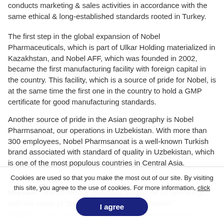conducts marketing & sales activities in accordance with the same ethical & long-established standards rooted in Turkey.
The first step in the global expansion of Nobel Pharmaceuticals, which is part of Ulkar Holding materialized in Kazakhstan, and Nobel AFF, which was founded in 2002, became the first manufacturing facility with foreign capital in the country. This facility, which is a source of pride for Nobel, is at the same time the first one in the country to hold a GMP certificate for good manufacturing standards.
Another source of pride in the Asian geography is Nobel Pharmsanoat, our operations in Uzbekistan. With more than 300 employees, Nobel Pharmsanoat is a well-known Turkish brand associated with standard of quality in Uzbekistan, which is one of the most populous countries in Central Asia.
Mission: To improve the quality of human life by operating with the motto of "Everything is worth it for health"
Vision: To strengthen our position as a leading Turkish pharmaceutical company that contributes to human health worldwide.
Cookies are used so that you make the most out of our site. By visiting this site, you agree to the use of cookies. For more information, click